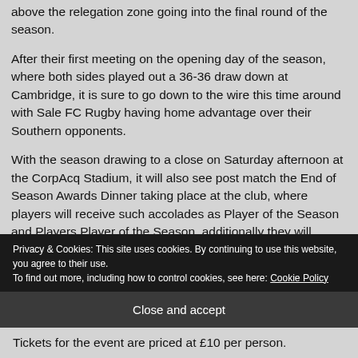above the relegation zone going into the final round of the season.
After their first meeting on the opening day of the season, where both sides played out a 36-36 draw down at Cambridge, it is sure to go down to the wire this time around with Sale FC Rugby having home advantage over their Southern opponents.
With the season drawing to a close on Saturday afternoon at the CorpAcq Stadium, it will also see post match the End of Season Awards Dinner taking place at the club, where players will receive such accolades as Player of the Season and Players Player of the Season, additionally they will
Privacy & Cookies: This site uses cookies. By continuing to use this website, you agree to their use.
To find out more, including how to control cookies, see here: Cookie Policy
Close and accept
Tickets for the event are priced at £10 per person.